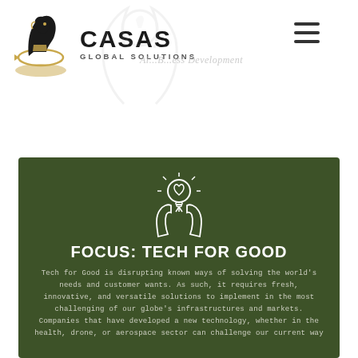[Figure (logo): Casas Global Solutions logo featuring a chess knight piece with an arrow and the text CASAS in bold with GLOBAL SOLUTIONS below]
Al...B...ess Development
[Figure (illustration): White line icon of two hands holding a lightbulb with a heart inside and rays of light, on a dark green background]
FOCUS: TECH FOR GOOD
Tech for Good is disrupting known ways of solving the world's needs and customer wants. As such, it requires fresh, innovative, and versatile solutions to implement in the most challenging of our globe's infrastructures and markets. Companies that have developed a new technology, whether in the health, drone, or aerospace sector can challenge our current way